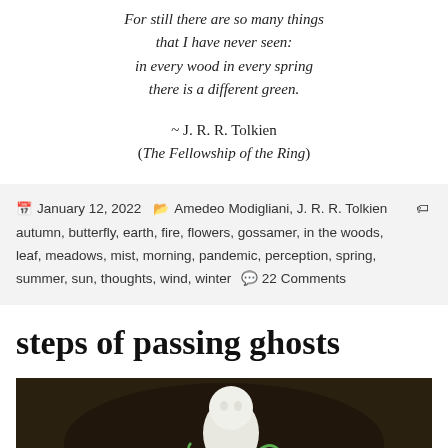For still there are so many things that I have never seen: in every wood in every spring there is a different green.
~ J. R. R. Tolkien (The Fellowship of the Ring)
January 12, 2022  Amedeo Modigliani, J. R. R. Tolkien  autumn, butterfly, earth, fire, flowers, gossamer, in the woods, leaf, meadows, mist, morning, pandemic, perception, spring, summer, sun, thoughts, wind, winter  22 Comments
steps of passing ghosts
[Figure (photo): A photo of small ceramic or clay figurines, including a white ghost-like figure and colorful small sculptures, held in a hand against a dark background.]